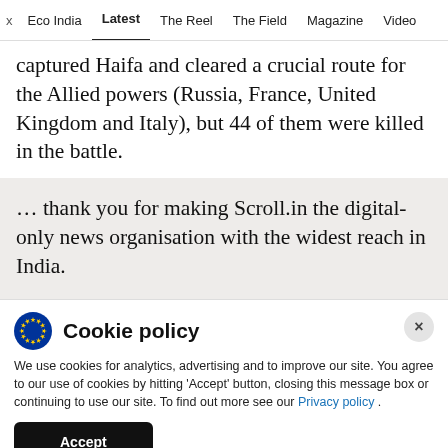x  Eco India  Latest  The Reel  The Field  Magazine  Video
captured Haifa and cleared a crucial route for the Allied powers (Russia, France, United Kingdom and Italy), but 44 of them were killed in the battle.
... thank you for making Scroll.in the digital-only news organisation with the widest reach in India.
Cookie policy
We use cookies for analytics, advertising and to improve our site. You agree to our use of cookies by hitting 'Accept' button, closing this message box or continuing to use our site. To find out more see our Privacy policy .
Accept